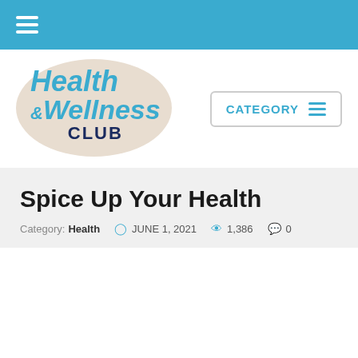Navigation bar with hamburger menu
[Figure (logo): Health & Wellness Club logo with teal text on beige oval background]
Spice Up Your Health
Category: Health  JUNE 1, 2021  1,386  0
[Figure (other): Yellow advertisement area]